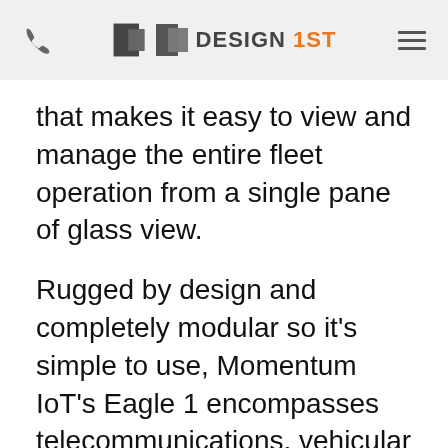DESIGN 1ST
that makes it easy to view and manage the entire fleet operation from a single pane of glass view.
Rugged by design and completely modular so it's simple to use, Momentum IoT's Eagle 1 encompasses telecommunications, vehicular technology and engineering and computer sciences into a mobile, plug and play GPS fleet tracking device that works across more vehicles and equipment, from pickups to tractor trailers.
It can withstand even the most treacherous